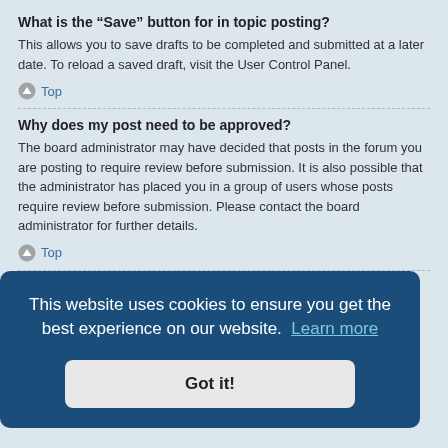What is the “Save” button for in topic posting?
This allows you to save drafts to be completed and submitted at a later date. To reload a saved draft, visit the User Control Panel.
Top
Why does my post need to be approved?
The board administrator may have decided that posts in the forum you are posting to require review before submission. It is also possible that the administrator has placed you in a group of users whose posts require review before submission. Please contact the board administrator for further details.
Top
How do I bump my topic?
By clicking the “Bump topic” link when you are viewing it, you can “bump” the topic to the top of the forum on the first page. However, if you do not see this, then topic bumping may be disabled or the time allowance between bumps has not yet been reached. It is also possible to bump the topic simply by replying to it, however, be sure to follow the board rules when doing so.
This website uses cookies to ensure you get the best experience on our website. Learn more
Got it!